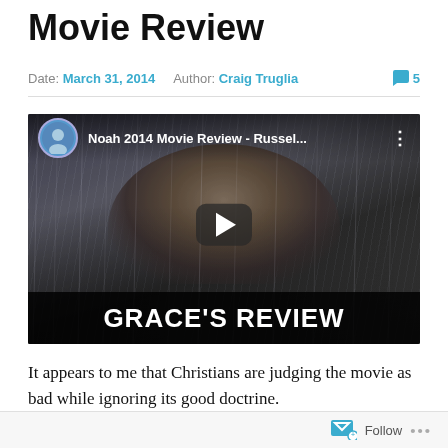Movie Review
Date: March 31, 2014   Author: Craig Truglia   💬 5
[Figure (screenshot): YouTube video thumbnail for 'Noah 2014 Movie Review - Russel...' showing a bearded man in rain with 'GRACE'S REVIEW' banner at bottom, with play button overlay]
It appears to me that Christians are judging the movie as bad while ignoring its good doctrine.
Follow ...